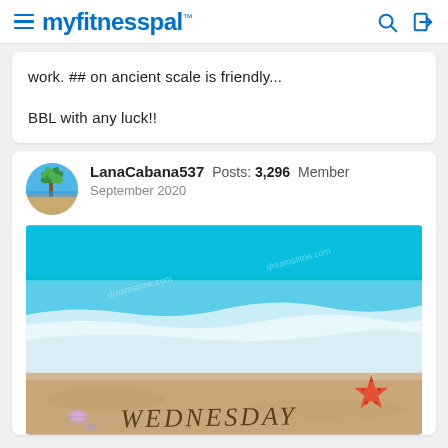myfitnesspal
work. ## on ancient scale is friendly...

BBL with any luck!!
LanaCabana537  Posts: 3,296  Member
September 2020
[Figure (photo): Beach scene with turquoise ocean water, waves on sandy shore with the word WEDNESDAY written in sand. A red starfish and small shells visible on the right side.]